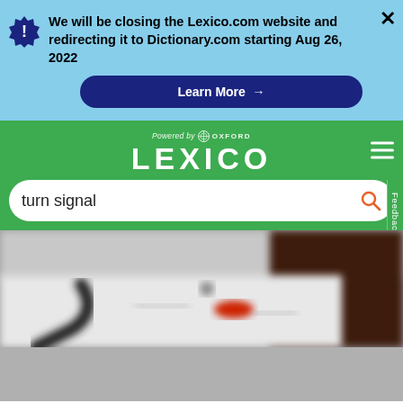We will be closing the Lexico.com website and redirecting it to Dictionary.com starting Aug 26, 2022
Learn More →
[Figure (logo): Lexico powered by Oxford logo on green background with hamburger menu]
turn signal
[Figure (photo): Blurred close-up photo of what appears to be car interior components including a red object and cables on a white surface]